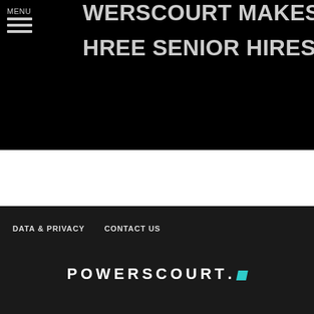MENU
POWERSCOURT MAKES THREE SENIOR HIRES
[Figure (photo): Dark/black background image area behind the headline text]
DATA & PRIVACY   CONTACT US
[Figure (logo): POWERSCOURT logo in white uppercase letters with a teal parallelogram dot, on a dark background]